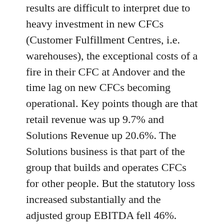results are difficult to interpret due to heavy investment in new CFCs (Customer Fulfillment Centres, i.e. warehouses), the exceptional costs of a fire in their CFC at Andover and the time lag on new CFCs becoming operational. Key points though are that retail revenue was up 9.7% and Solutions Revenue up 20.6%. The Solutions business is that part of the group that builds and operates CFCs for other people. But the statutory loss increased substantially and the adjusted group EBITDA fell 46%.
The interesting aspect is more their future business plans. As the CEO, Tim Steiner, said “2019 has seen a shift in the centre of gravity of Ocado Group. We have pivoted from being a